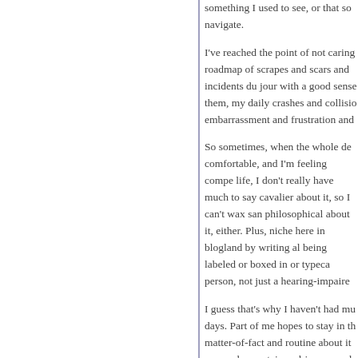something I used to see, or that so navigate.
I've reached the point of not caring roadmap of scrapes and scars and incidents du jour with a good sense them, my daily crashes and collisions embarrassment and frustration and
So sometimes, when the whole de comfortable, and I'm feeling compe life, I don't really have much to say cavalier about it, so I can't wax san philosophical about it, either. Plus, niche here in blogland by writing al being labeled or boxed in or typeca person, not just a hearing-impaired
I guess that's why I haven't had mu days. Part of me hopes to stay in th matter-of-fact and routine about it a scared-uncertain-sad-insecure pla occasion.
Posted at 02:39 PM in the eyes have
Comments
My friend, you are so far fr your hearing and vision los